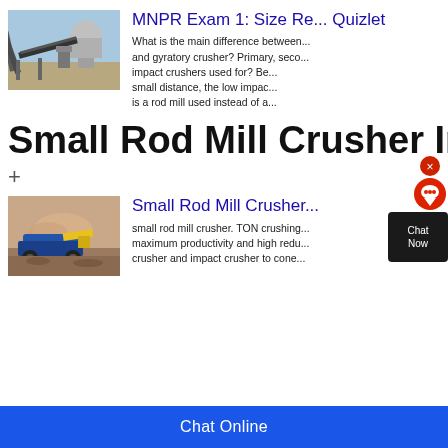[Figure (photo): Industrial crusher/conveyor machinery at a mining site with conveyor belts and silos]
MNPR Exam 1: Size Re... Quizlet
What is the main difference between... and gyratory crusher? Primary, seco... impact crushers used for? Be... small distance, the low impac... is a rod mill used instead of a...
Small Rod Mill Crusher In Bulgaria...
+
[Figure (photo): Small rod mill crusher machine operating at a mining/quarry site with dust and yellow machinery]
Small Rod Mill Crusher...
small rod mill crusher. TON crushing... maximum productivity and high redu... crusher and impact crusher to cone...
Chat Online